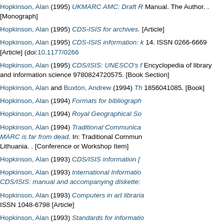Hopkinson, Alan (1995) UKMARC AMC: Draft R... Manual. The Author. . [Monograph]
Hopkinson, Alan (1995) CDS-ISIS for archives. ... [Article]
Hopkinson, Alan (1995) CDS-ISIS information: k... 14. ISSN 0266-6669 [Article] (doi:10.1177/0266...)
Hopkinson, Alan (1995) CDS/ISIS: UNESCO's f... Encyclopedia of library and information science... 9780824720575. [Book Section]
Hopkinson, Alan and Buxton, Andrew (1994) Th... 1856041085. [Book]
Hopkinson, Alan (1994) Formats for bibliograph...
Hopkinson, Alan (1994) Royal Geographical So...
Hopkinson, Alan (1994) Traditional Communica... MARC is far from dead. In: Traditional Commun... Lithuania. . [Conference or Workshop Item]
Hopkinson, Alan (1993) CDS/ISIS information [...
Hopkinson, Alan (1993) International Informatio... CDS/ISIS: manual and accompanying diskette:...
Hopkinson, Alan (1993) Computers in art libraria... ISSN 1048-6798 [Article]
Hopkinson, Alan (1993) Standards for informatio... Evans, C. D., Meek, Brian L. and Walker, R. S., ...
Evans, C.D., Meek, Brian L., Walker, R. S. and ... Heinemann. ISBN 9780750615594. [Book]